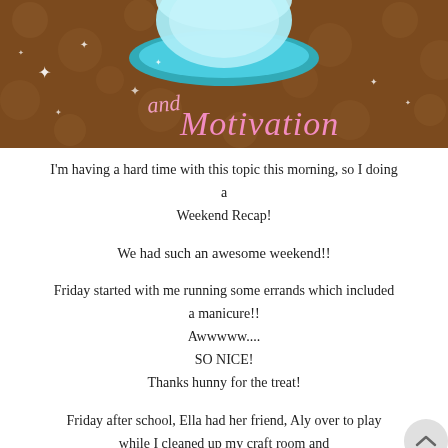[Figure (illustration): Decorative banner with brown polka-dot background, teal/blue teacup on saucer, sparkle stars, and pink cursive text reading 'and Motivation']
I'm having a hard time with this topic this morning, so I doing a
Weekend Recap!
We had such an awesome weekend!!
Friday started with me running some errands which included a manicure!!
Awwwww....
SO NICE!
Thanks hunny for the treat!
Friday after school, Ella had her friend, Aly over to play
while I cleaned up my craft room and